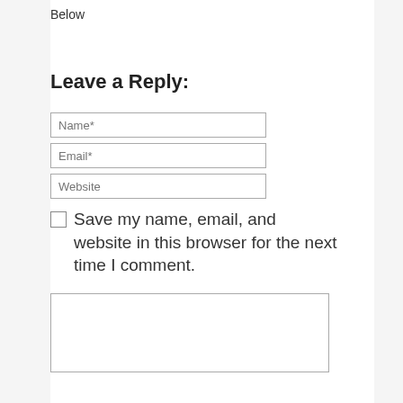Below
Leave a Reply:
[Figure (screenshot): Web comment form with Name*, Email*, Website input fields, a checkbox labeled 'Save my name, email, and website in this browser for the next time I comment.', and a large textarea for comment.]